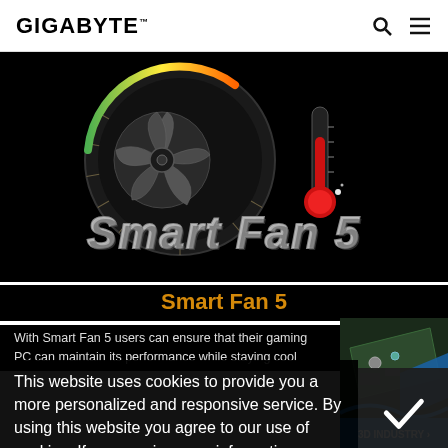GIGABYTE
[Figure (illustration): Smart Fan 5 hero graphic on black background showing a fan blade icon, speedometer gauge with green-to-orange arc, and a red thermometer, with 'Smart Fan 5' stylized metallic text logo]
Smart Fan 5
With Smart Fan 5 users can ensure that their gaming PC can maintain its performance while staying cool
[Figure (illustration): 3D Industry advertisement panel showing a circuit board isometric view with blue accent and '3D INDUSTRY >' label]
This website uses cookies to provide you a more personalized and responsive service. By using this website you agree to our use of cookies. If you require more information or prefer not to accept cookies please visit our Privacy Policy
[Figure (illustration): Dark overlay panel with a white checkmark icon]